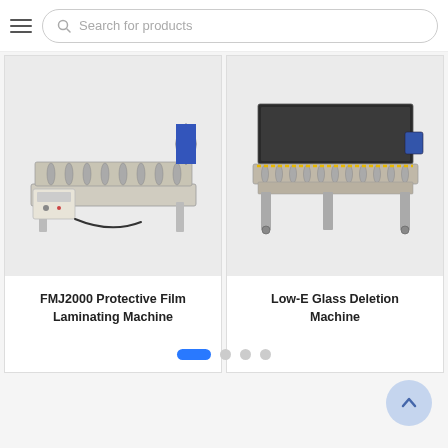[Figure (screenshot): Search bar with hamburger menu icon and placeholder text 'Search for products']
[Figure (photo): FMJ2000 Protective Film Laminating Machine — industrial roller-based laminating equipment]
FMJ2000 Protective Film Laminating Machine
[Figure (photo): Low-E Glass Deletion Machine — industrial flat glass processing conveyor machine]
Low-E Glass Deletion Machine
[Figure (infographic): Pagination indicator: one active blue pill and three grey dots]
[Figure (infographic): Scroll-to-top circular button with upward arrow]